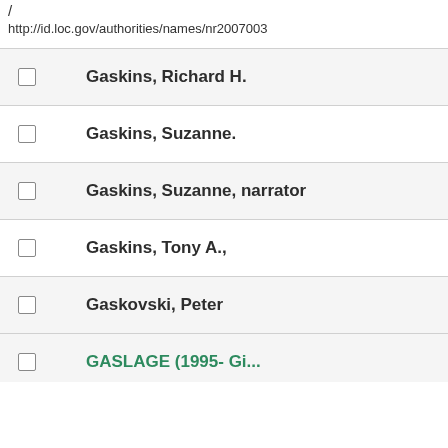/
http://id.loc.gov/authorities/names/nr2007003
Gaskins, Richard H.
Gaskins, Suzanne.
Gaskins, Suzanne, narrator
Gaskins, Tony A.,
Gaskovski, Peter
GASLAGE (1995- Gi...